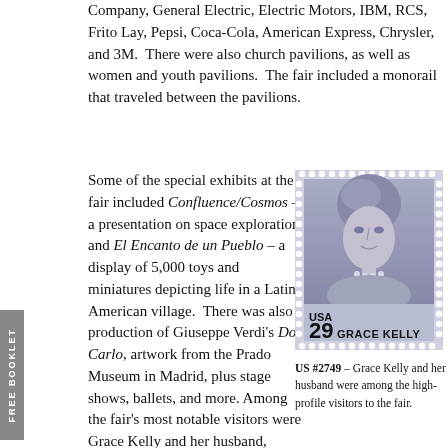Company, General Electric, Electric Motors, IBM, RCS, Frito Lay, Pepsi, Coca-Cola, American Express, Chrysler, and 3M.  There were also church pavilions, as well as women and youth pavilions.  The fair included a monorail that traveled between the pavilions.
Some of the special exhibits at the fair included Confluence/Cosmos – a presentation on space exploration, and El Encanto de un Pueblo – a display of 5,000 toys and miniatures depicting life in a Latin-American village.  There was also a production of Giuseppe Verdi's Don Carlo, artwork from the Prado Museum in Madrid, plus stage shows, ballets, and more.  Among the fair's most notable visitors were Grace Kelly and her husband, Prince Rainier of
[Figure (illustration): A US postage stamp showing a portrait of Grace Kelly. The stamp reads 'USA 29 GRACE KELLY'. The portrait shows a woman with styled hair looking forward. The stamp has a perforated border and blue-gray coloring.]
US #2749 – Grace Kelly and her husband were among the high-profile visitors to the fair.